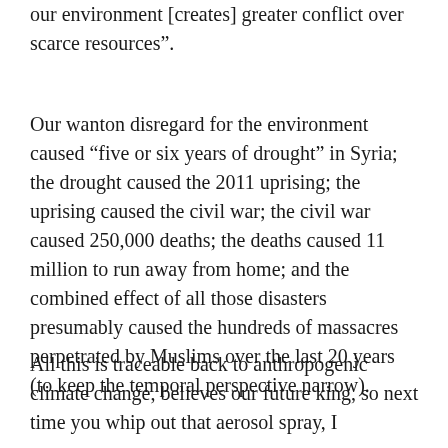our environment [creates] greater conflict over scarce resources”.
Our wanton disregard for the environment caused “five or six years of drought” in Syria; the drought caused the 2011 uprising; the uprising caused the civil war; the civil war caused 250,000 deaths; the deaths caused 11 million to run away from home; and the combined effect of all those disasters presumably caused the hundreds of massacres perpetrated by Muslims over the last 20 years (to keep the temporal perspective narrow).
All this is traceable back to anthropogenic climate change, believes our future king, so next time you whip out that aerosol spray, I